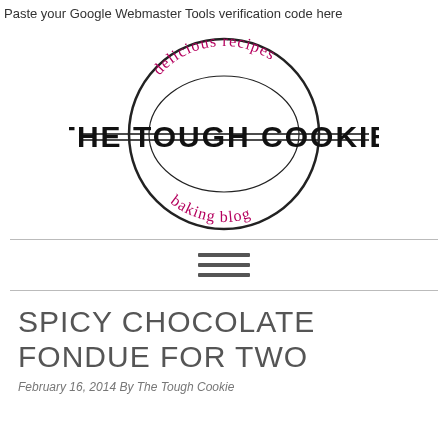Paste your Google Webmaster Tools verification code here
[Figure (logo): The Tough Cookie baking blog logo: a circular design with 'delicious recipes' arched at top in pink and 'baking blog' arched at bottom in pink, with 'THE TOUGH COOKIE' in large bold black text across the center, flanked by two horizontal lines]
[Figure (other): Hamburger menu icon: three horizontal dark gray bars]
SPICY CHOCOLATE FONDUE FOR TWO
February 16, 2014 By The Tough Cookie